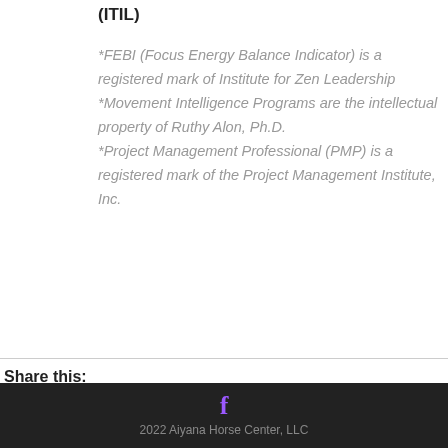(ITIL)
*FEBI (Focus Energy Balance Indicator) is a registered mark of Institute for Zen Leadership
*Movement Intelligence Programs are the intellectual property of Ruthy Alon, Ph.D.
*Project Management Professional (PMP) is a registered mark of the Project Management Institute, Inc.
Share this:
[Figure (other): Social media share icons: Facebook (blue circle), LinkedIn (blue circle), Twitter (cyan circle), Pinterest (red circle)]
f
2022 Aiyana Horse Center, LLC